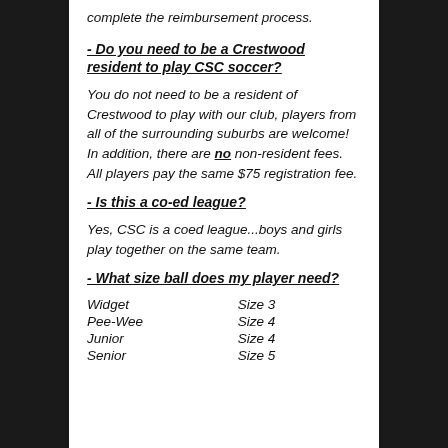complete the reimbursement process.
- Do you need to be a Crestwood resident to play CSC soccer?
You do not need to be a resident of Crestwood to play with our club, players from all of the surrounding suburbs are welcome!  In addition, there are no non-resident fees.  All players pay the same $75 registration fee.
- Is this a co-ed league?
Yes, CSC is a coed league...boys and girls play together on the same team.
- What size ball does my player need?
| Widget | Size 3 |
| Pee-Wee | Size 4 |
| Junior | Size 4 |
| Senior | Size 5 |